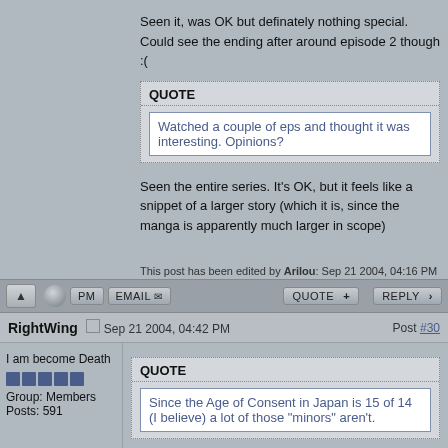Seen it, was OK but definately nothing special. Could see the ending after around episode 2 though :(
QUOTE
Watched a couple of eps and thought it was interesting. Opinions?
Seen the entire series. It's OK, but it feels like a snippet of a larger story (which it is, since the manga is apparently much larger in scope)
This post has been edited by Arilou: Sep 21 2004, 04:16 PM
RightWing
Sep 21 2004, 04:42 PM
Post #30
I am become Death
Group: Members
Posts: 591
QUOTE
Since the Age of Consent in Japan is 15 of 14 (I believe) a lot of those "minors" aren't.